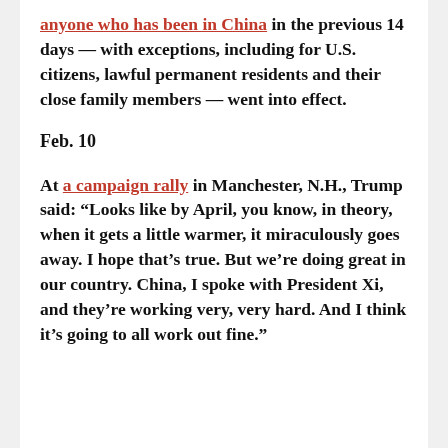anyone who has been in China in the previous 14 days — with exceptions, including for U.S. citizens, lawful permanent residents and their close family members — went into effect.
Feb. 10
At a campaign rally in Manchester, N.H., Trump said: “Looks like by April, you know, in theory, when it gets a little warmer, it miraculously goes away. I hope that’s true. But we’re doing great in our country. China, I spoke with President Xi, and they’re working very, very hard. And I think it’s going to all work out fine.”